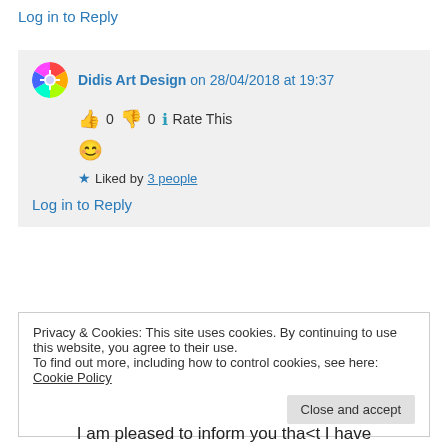Log in to Reply
Didis Art Design on 28/04/2018 at 19:37
👍 0 👎 0 ℹ Rate This
😊
★ Liked by 3 people
Log in to Reply
Privacy & Cookies: This site uses cookies. By continuing to use this website, you agree to their use.
To find out more, including how to control cookies, see here: Cookie Policy
Close and accept
I am pleased to inform you tha<t I have